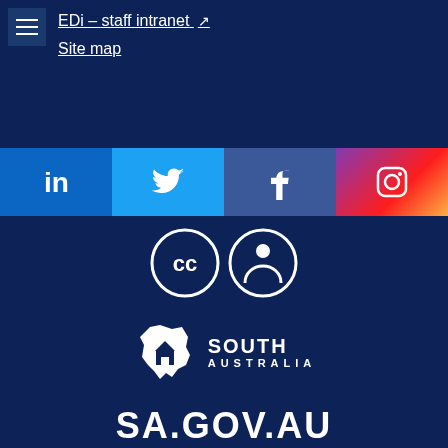EDi – staff intranet ↗
Site map
[Figure (infographic): Social media icons bar: LinkedIn (blue), Twitter (light blue), Facebook (dark blue), Instagram (gradient purple-red)]
[Figure (logo): Creative Commons CC BY attribution license icons (two white circles with CC and person symbol)]
[Figure (logo): South Australia government logo — white map of Australia with house icon and SOUTH AUSTRALIA text]
SA.GOV.AU